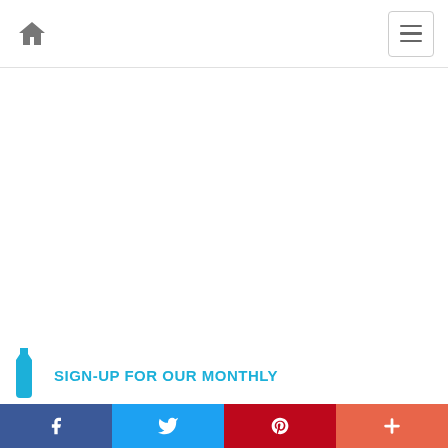Home navigation and hamburger menu
[Figure (screenshot): Blank white content area below the header]
SIGN-UP FOR OUR MONTHLY
Social share bar: Facebook, Twitter, Pinterest, More (plus icon)